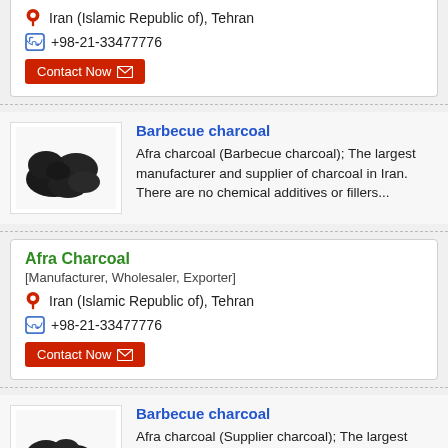Iran (Islamic Republic of), Tehran
+98-21-33477776
Contact Now
[Figure (photo): Black barbecue charcoal pieces product image]
Barbecue charcoal
Afra charcoal (Barbecue charcoal); The largest manufacturer and supplier of charcoal in Iran. There are no chemical additives or fillers...
Afra Charcoal
[Manufacturer, Wholesaler, Exporter]
Iran (Islamic Republic of), Tehran
+98-21-33477776
Contact Now
[Figure (photo): Black barbecue charcoal pieces product image]
Barbecue charcoal
Afra charcoal (Supplier charcoal); The largest manufacturer and supplier of charcoal in Iran. There are no chemical additives or fillers...